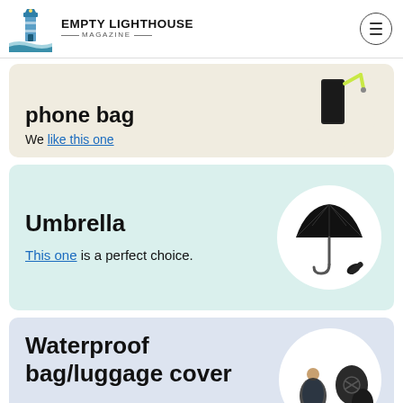EMPTY LIGHTHOUSE MAGAZINE
phone bag — We like this one
Umbrella — This one is a perfect choice.
Waterproof bag/luggage cover